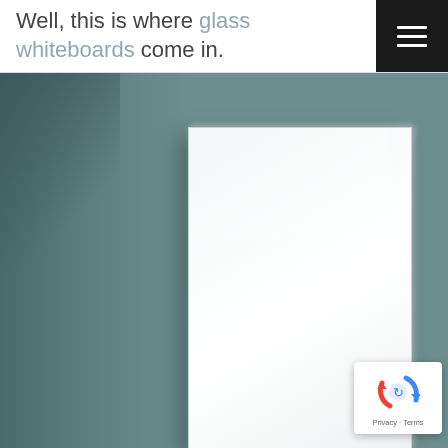Well, this is where glass whiteboards come in.
[Figure (photo): A white glass whiteboard mounted on a muted teal-grey wall, photographed from a slight angle showing the board's edge and its clean white surface against the darker wall background.]
[Figure (logo): Google reCAPTCHA badge with blue/red arrow-cycle icon, showing Privacy and Terms links below.]